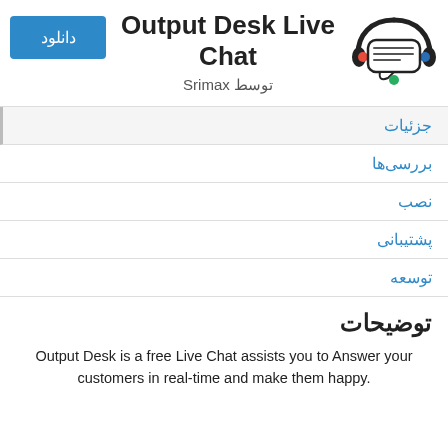Output Desk Live Chat
توسط Srimax
[Figure (logo): Headphone with chat bubble icon - Output Desk Live Chat logo]
جزئیات
بررسی‌ها
نصب
پشتیبانی
توسعه
توضیحات
Output Desk is a free Live Chat assists you to Answer your customers in real-time and make them happy.